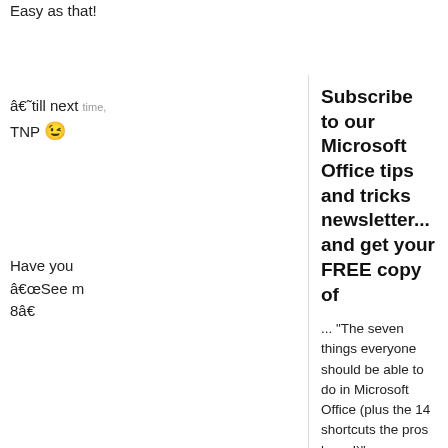Easy as that!
â€˜till next time,
TNP 😉
Have you noticed â€œSee m... 8â€
Did you know references and autom... clicked will... ss
It looks a l denture but here is Word 200...
1) Make si reference which you
Subscribe to our Microsoft Office tips and tricks newsletter... and get your FREE copy of
... "The seven things everyone should be able to do in Microsoft Office (plus the 14 shortcuts the pros know!)"
* indicates required
Email Address
First Name
Last Name